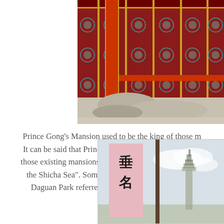[Figure (photo): Photo of traditional Chinese palace/mansion architecture showing ornate dark red wooden doors with gold decorative patterns, red pillars, and stone elements in the foreground. This is a cropped view showing the upper portion of the building.]
Prince Gong's Mansion used to be the king of those m... It can be said that Prince Gong's Mansion has collecte... those existing mansions in Beijing. People always say t... the Shicha Sea". Some people even believe that it is... Daguan Park referred in the book "A Dream of R...
[Figure (photo): Photo showing a pink vertical banner with Chinese characters and what appears to be a tower or pagoda in the background against a cloudy sky.]